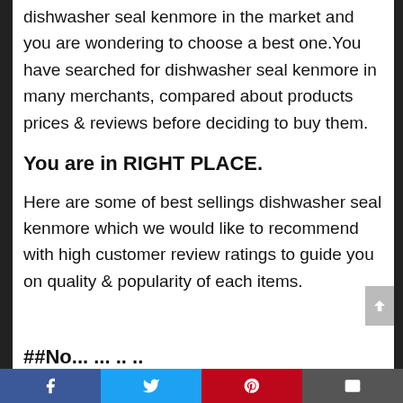dishwasher seal kenmore in the market and you are wondering to choose a best one.You have searched for dishwasher seal kenmore in many merchants, compared about products prices & reviews before deciding to buy them.
You are in RIGHT PLACE.
Here are some of best sellings dishwasher seal kenmore which we would like to recommend with high customer review ratings to guide you on quality & popularity of each items.
Facebook | Twitter | Pinterest | Email